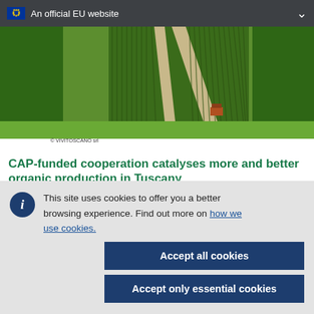An official EU website
[Figure (photo): Aerial view of Tuscan agricultural fields — rows of crops and vineyards visible from above, with trees and farm buildings]
© VIVITOSCANO srl
CAP-funded cooperation catalyses more and better organic production in Tuscany
This site uses cookies to offer you a better browsing experience. Find out more on how we use cookies.
Accept all cookies
Accept only essential cookies